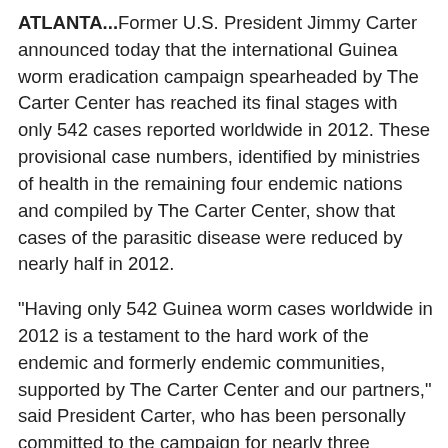ATLANTA...Former U.S. President Jimmy Carter announced today that the international Guinea worm eradication campaign spearheaded by The Carter Center has reached its final stages with only 542 cases reported worldwide in 2012. These provisional case numbers, identified by ministries of health in the remaining four endemic nations and compiled by The Carter Center, show that cases of the parasitic disease were reduced by nearly half in 2012.
"Having only 542 Guinea worm cases worldwide in 2012 is a testament to the hard work of the endemic and formerly endemic communities, supported by The Carter Center and our partners," said President Carter, who has been personally committed to the campaign for nearly three decades. "The collateral impact of this campaign is immense; it empowers people in some of the world's most neglected communities to protect themselves from a terrible disease and to believe in the possibility of a brighter future."
There were 3.5 million cases of Guinea worm in 21 countries in